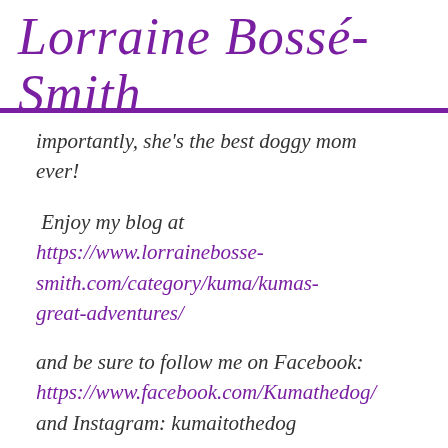Lorraine Bossé-Smith
importantly, she's the best doggy mom ever!
Enjoy my blog at https://www.lorrainebosse-smith.com/category/kuma/kumas-great-adventures/
and be sure to follow me on Facebook: https://www.facebook.com/Kumathedog/ and Instagram: kumaitothedog